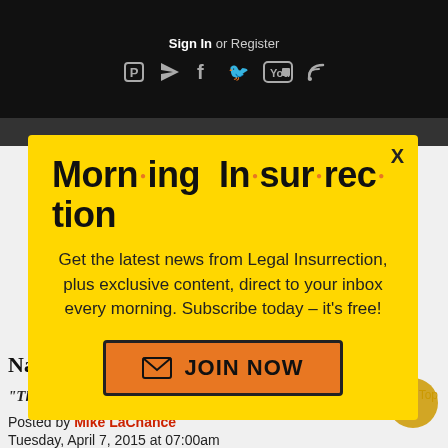Sign In or Register
[Figure (screenshot): Social media icon bar with share, telegram, facebook, twitter, youtube, rss icons on dark background]
[Figure (infographic): Yellow modal popup: Morning Insurrection newsletter signup. Get the latest news from Legal Insurrection, plus exclusive content, direct to your inbox every morning. Subscribe today – it's free! JOIN NOW button.]
National Security Risk
“This one doesn’t feel good to me.”
Posted by Mike LaChance
Tuesday, April 7, 2015 at 07:00am